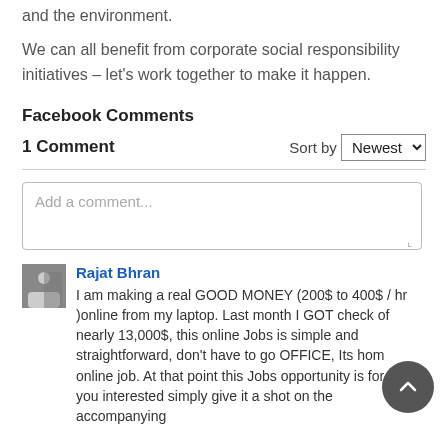and the environment.
We can all benefit from corporate social responsibility initiatives – let's work together to make it happen.
Facebook Comments
1 Comment   Sort by Newest
Add a comment...
Rajat Bhran
I am making a real GOOD MONEY (200$ to 400$ / hr )online from my laptop. Last month I GOT check of nearly 13,000$, this online Jobs is simple and straightforward, don't have to go OFFICE, Its home online job. At that point this Jobs opportunity is for you interested simply give it a shot on the accompanying